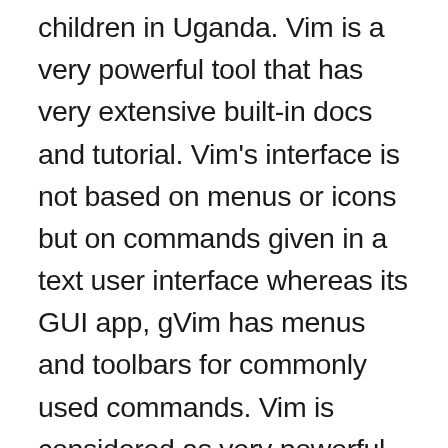children in Uganda. Vim is a very powerful tool that has very extensive built-in docs and tutorial. Vim's interface is not based on menus or icons but on commands given in a text user interface whereas its GUI app, gVim has menus and toolbars for commonly used commands. Vim is considered as very powerful because of its customizable and extensible nature. There are many extensions and plugins available to install to extend the features of Vim. Some of Vim's enhancements include completion, comparison and merging of files, folding, files over network protocols such as SSH, FTP, and HTTP, spell checking, split (horizontal and vertical) and tabbed windows, unicode and other